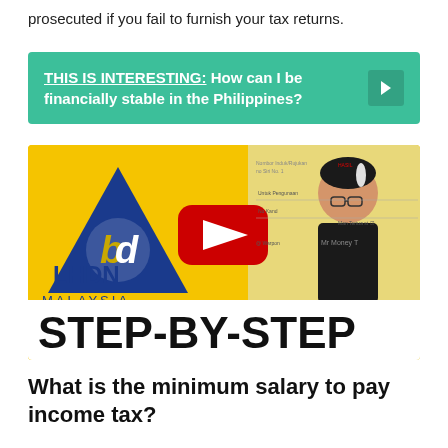prosecuted if you fail to furnish your tax returns.
THIS IS INTERESTING: How can I be financially stable in the Philippines?
[Figure (screenshot): YouTube video thumbnail showing LHDN Malaysia logo with a step-by-step tax filing guide, featuring a person in a black t-shirt with text STEP-BY-STEP in large bold letters]
What is the minimum salary to pay income tax?